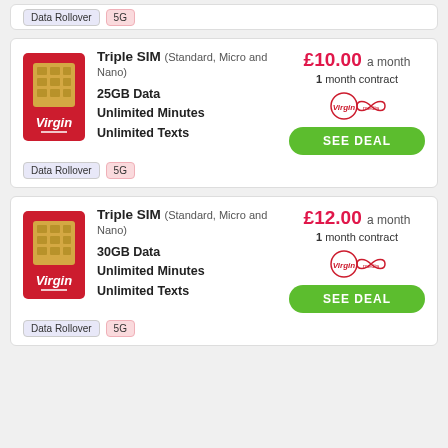[Figure (other): Partial card stub at top showing Data Rollover and 5G tags]
Triple SIM (Standard, Micro and Nano)
25GB Data
Unlimited Minutes
Unlimited Texts
£10.00 a month
1 month contract
[Figure (logo): Virgin Media logo]
SEE DEAL
Data Rollover
5G
Triple SIM (Standard, Micro and Nano)
30GB Data
Unlimited Minutes
Unlimited Texts
£12.00 a month
1 month contract
[Figure (logo): Virgin Media logo]
SEE DEAL
Data Rollover
5G